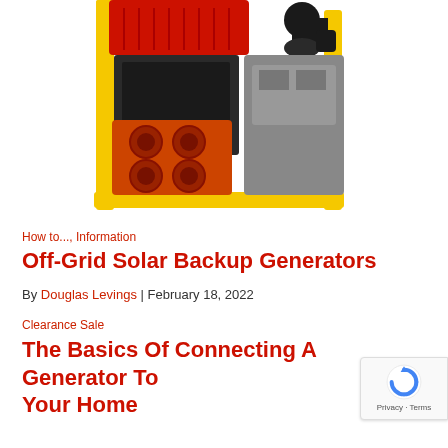[Figure (photo): Industrial/portable generator with yellow metal frame, red engine cover on top, orange electrical outlet panel on lower left, and black engine components on the right side. White background.]
How to..., Information
Off-Grid Solar Backup Generators
By Douglas Levings | February 18, 2022
Clearance Sale
The Basics Of Connecting A Generator To Your Home